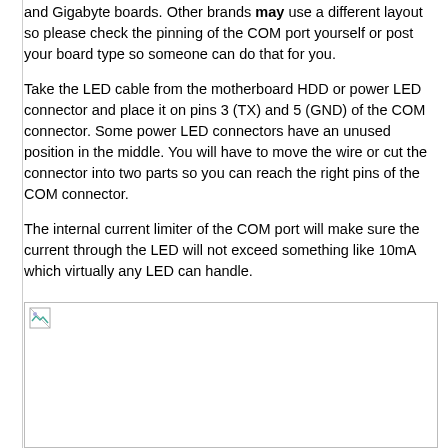and Gigabyte boards. Other brands may use a different layout so please check the pinning of the COM port yourself or post your board type so someone can do that for you.
Take the LED cable from the motherboard HDD or power LED connector and place it on pins 3 (TX) and 5 (GND) of the COM connector. Some power LED connectors have an unused position in the middle. You will have to move the wire or cut the connector into two parts so you can reach the right pins of the COM connector.
The internal current limiter of the COM port will make sure the current through the LED will not exceed something like 10mA which virtually any LED can handle.
[Figure (photo): Broken/missing image placeholder representing a diagram or photo related to COM port LED wiring]